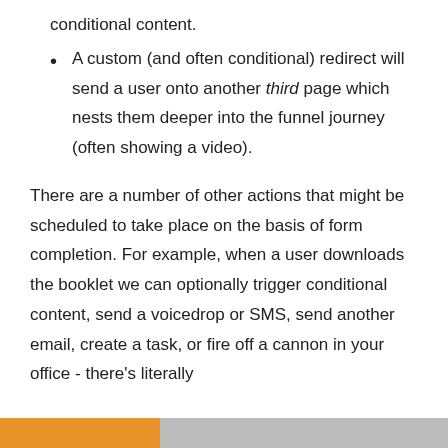conditional content.
A custom (and often conditional) redirect will send a user onto another third page which nests them deeper into the funnel journey (often showing a video).
There are a number of other actions that might be scheduled to take place on the basis of form completion. For example, when a user downloads the booklet we can optionally trigger conditional content, send a voicedrop or SMS, send another email, create a task, or fire off a cannon in your office - there's literally